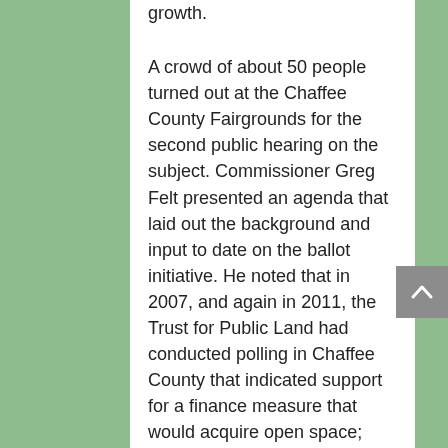growth.
A crowd of about 50 people turned out at the Chaffee County Fairgrounds for the second public hearing on the subject. Commissioner Greg Felt presented an agenda that laid out the background and input to date on the ballot initiative. He noted that in 2007, and again in 2011, the Trust for Public Land had conducted polling in Chaffee County that indicated support for a finance measure that would acquire open space; however, the recession, and subsequent slow economic recovery, meant that “the